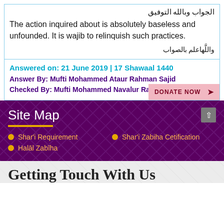الجواب وبالله التوفيق
The action inquired about is absolutely baseless and unfounded. It is wajib to relinquish such practices.
واللَّهاعلم بالصواب
Answered on: 21 June 2019 | 17 Shawaal 1440
Answer By: Mufti Mohammed Ataur Rahman Sajid
Checked By: Mufti Mohammed Navalur Rahman
Site Map
Shar'i Requirement
Shar'i Zabiha Cetification
Halāl Zabīha
Getting Touch With Us